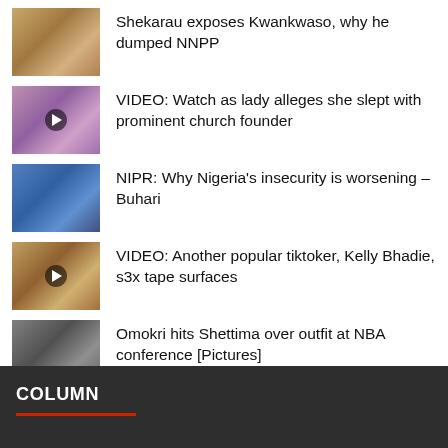Shekarau exposes Kwankwaso, why he dumped NNPP
VIDEO: Watch as lady alleges she slept with prominent church founder
NIPR: Why Nigeria's insecurity is worsening – Buhari
VIDEO: Another popular tiktoker, Kelly Bhadie, s3x tape surfaces
Omokri hits Shettima over outfit at NBA conference [Pictures]
Police recruitment: PSC bows to pressure, suspends exercise
COLUMN